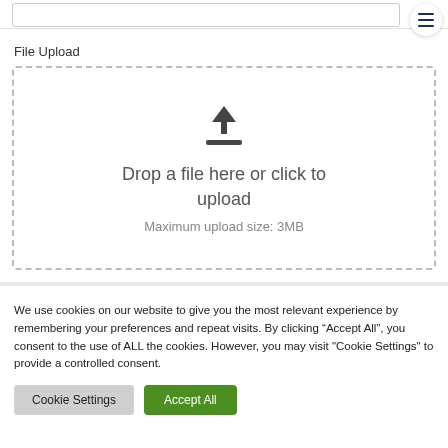[Figure (screenshot): File upload drop zone with upload icon, 'Drop a file here or click to upload' text, and 'Maximum upload size: 3MB' text inside a dashed border rectangle]
File Upload
Drop a file here or click to upload
Maximum upload size: 3MB
We use cookies on our website to give you the most relevant experience by remembering your preferences and repeat visits. By clicking “Accept All”, you consent to the use of ALL the cookies. However, you may visit "Cookie Settings" to provide a controlled consent.
Cookie Settings
Accept All